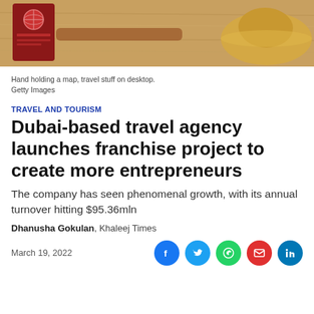[Figure (photo): Hand holding a map, travel stuff on desktop. Passport and straw hat visible on wooden surface.]
Hand holding a map, travel stuff on desktop.
Getty Images
TRAVEL AND TOURISM
Dubai-based travel agency launches franchise project to create more entrepreneurs
The company has seen phenomenal growth, with its annual turnover hitting $95.36mln
Dhanusha Gokulan, Khaleej Times
March 19, 2022